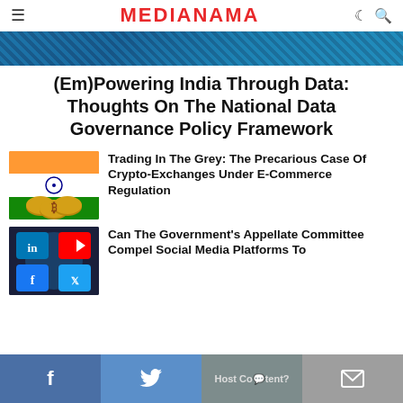MEDIANAMA
[Figure (photo): Banner image with blue digital/network pattern background]
(Em)Powering India Through Data: Thoughts On The National Data Governance Policy Framework
[Figure (photo): Thumbnail showing Indian flag colors (orange, white, green) with Bitcoin coin overlay]
Trading In The Grey: The Precarious Case Of Crypto-Exchanges Under E-Commerce Regulation
[Figure (photo): Thumbnail showing social media app icons: LinkedIn, YouTube, Facebook on dark background]
Can The Government's Appellate Committee Compel Social Media Platforms To Host Content?